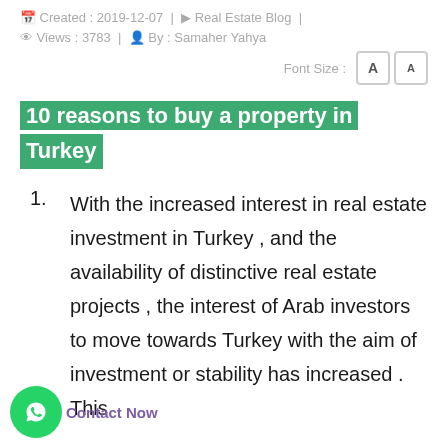Created : 2019-12-07 | Real Estate Blog | Views : 3783 | By : Samaher Yahya
Font Size :
10 reasons to buy a property in Turkey
With the increased interest in real estate investment in Turkey , and the availability of distinctive real estate projects , the interest of Arab investors to move towards Turkey with the aim of investment or stability has increased . This